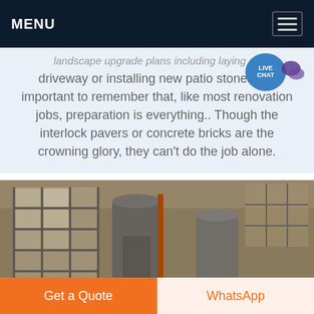MENU
driveway or installing new patio stones, it's important to remember that, like most renovation jobs, preparation is everything.. Though the interlock pavers or concrete bricks are the crowning glory, they can't do the job alone.
[Figure (photo): Industrial factory interior with large metal silos/tanks, high ceiling with windows letting in natural light, and industrial equipment]
Get a Quote
WhatsApp